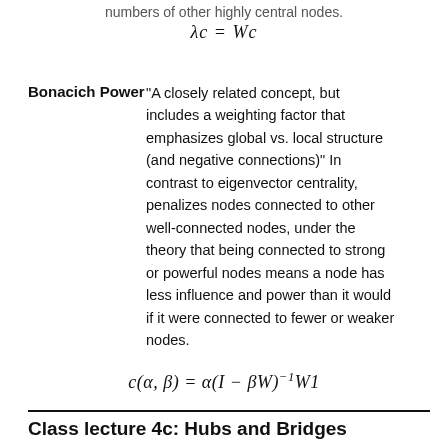numbers of other highly central nodes.
Bonacich Power   "A closely related concept, but includes a weighting factor that emphasizes global vs. local structure (and negative connections)" In contrast to eigenvector centrality, penalizes nodes connected to other well-connected nodes, under the theory that being connected to strong or powerful nodes means a node has less influence and power than it would if it were connected to fewer or weaker nodes.
Class lecture 4c: Hubs and Bridges